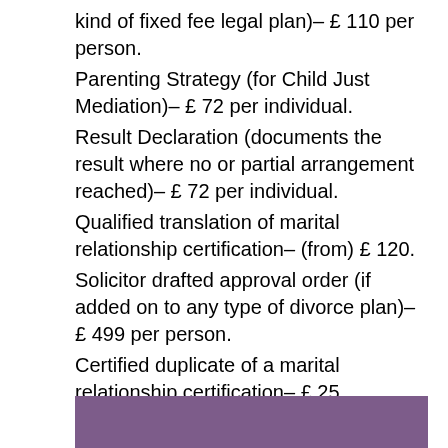kind of fixed fee legal plan)– £ 110 per person.
Parenting Strategy (for Child Just Mediation)– £ 72 per individual.
Result Declaration (documents the result where no or partial arrangement reached)– £ 72 per individual.
Qualified translation of marital relationship certification– (from) £ 120.
Solicitor drafted approval order (if added on to any type of divorce plan)– £ 499 per person.
Certified duplicate of a marital relationship certification– £ 25.
Work with of second room for shuttle bus mediation– £ 30 each per meeting.
[Figure (other): Purple/mauve colored rectangular bar at the bottom of the page]